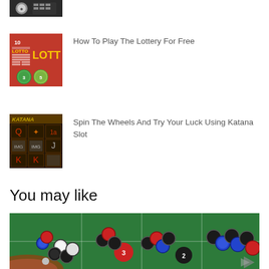[Figure (photo): Partial top thumbnail of casino/dice/chips image, cropped at top]
[Figure (photo): Lottery-themed thumbnail image with LOTTO text, balls, red background]
How To Play The Lottery For Free
[Figure (photo): Katana slot game thumbnail with medieval symbols on dark background]
Spin The Wheels And Try Your Luck Using Katana Slot
You may like
[Figure (photo): Casino roulette table with poker chips in red, black, blue, white colors on green felt]